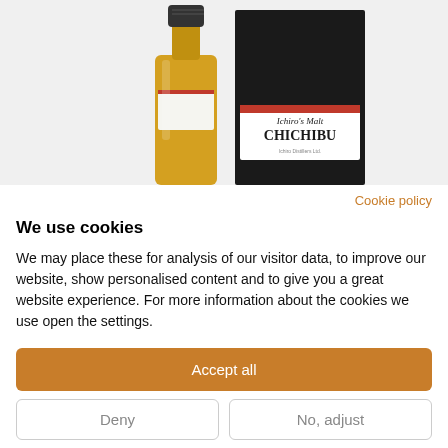[Figure (photo): Product photo of Ichiro's Malt Chichibu whisky bottle next to its dark box/packaging with a red and white label reading 'Ichiro's Malt CHICHIBU']
Cookie policy
We use cookies
We may place these for analysis of our visitor data, to improve our website, show personalised content and to give you a great website experience. For more information about the cookies we use open the settings.
Accept all
Deny
No, adjust